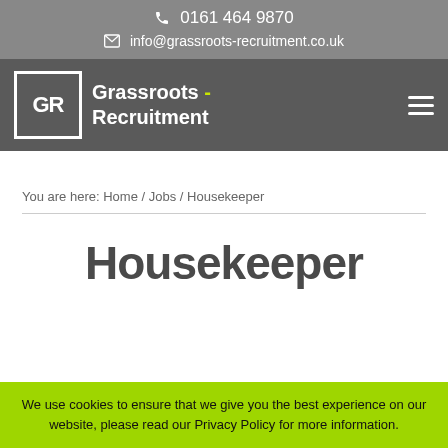0161 464 9870
info@grassroots-recruitment.co.uk
[Figure (logo): Grassroots Recruitment logo with GR in a box and company name]
You are here: Home / Jobs / Housekeeper
Housekeeper
We use cookies to ensure that we give you the best experience on our website, please read our Privacy Policy for more information.